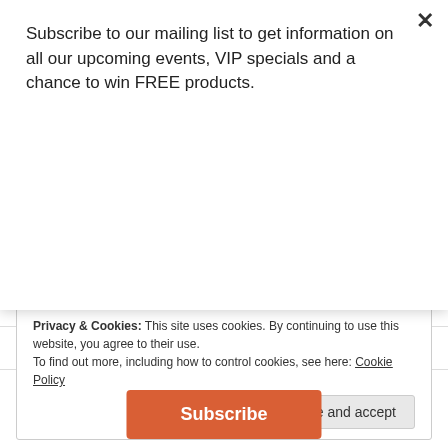Subscribe to our mailing list to get information on all our upcoming events, VIP specials and a chance to win FREE products.
[Figure (screenshot): Orange Subscribe button]
[Figure (screenshot): Twitter and Facebook social share buttons]
LIKE THIS:
[Figure (screenshot): Star Like button widget]
One blogger likes this.
Privacy & Cookies: This site uses cookies. By continuing to use this website, you agree to their use.
To find out more, including how to control cookies, see here: Cookie Policy
[Figure (screenshot): Close and accept button]